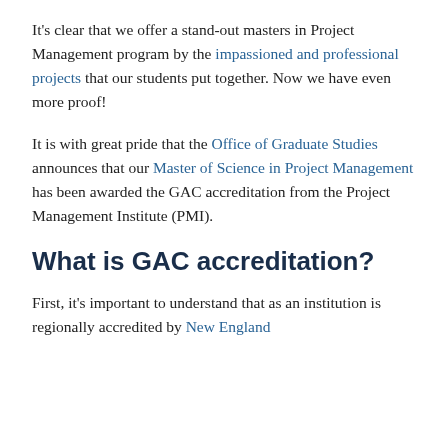It's clear that we offer a stand-out masters in Project Management program by the impassioned and professional projects that our students put together. Now we have even more proof!
It is with great pride that the Office of Graduate Studies announces that our Master of Science in Project Management has been awarded the GAC accreditation from the Project Management Institute (PMI).
What is GAC accreditation?
First, it's important to understand that as an institution is regionally accredited by New England